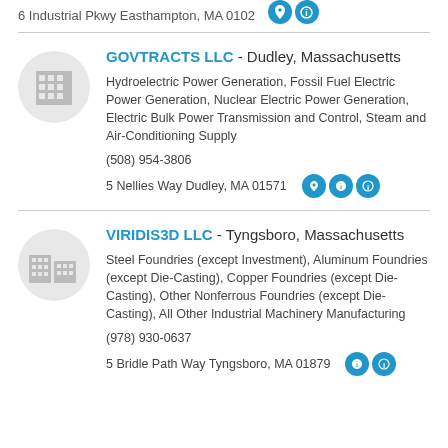6 Industrial Pkwy Easthampton, MA 0102
GOVTRACTS LLC - Dudley, Massachusetts
Hydroelectric Power Generation, Fossil Fuel Electric Power Generation, Nuclear Electric Power Generation, Electric Bulk Power Transmission and Control, Steam and Air-Conditioning Supply
(508) 954-3806
5 Nellies Way Dudley, MA 01571
VIRIDIS3D LLC - Tyngsboro, Massachusetts
Steel Foundries (except Investment), Aluminum Foundries (except Die-Casting), Copper Foundries (except Die-Casting), Other Nonferrous Foundries (except Die-Casting), All Other Industrial Machinery Manufacturing
(978) 930-0637
5 Bridle Path Way Tyngsboro, MA 01879